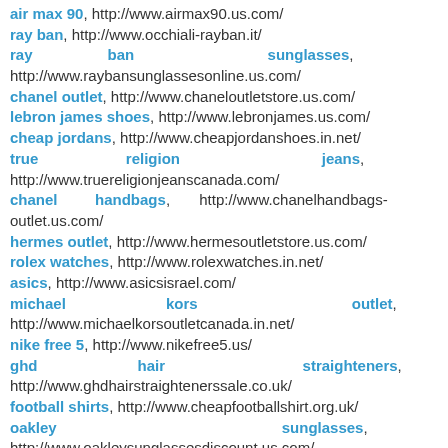air max 90, http://www.airmax90.us.com/
ray ban, http://www.occhiali-rayban.it/
ray ban sunglasses, http://www.raybansunglassesonline.us.com/
chanel outlet, http://www.chaneloutletstore.us.com/
lebron james shoes, http://www.lebronjames.us.com/
cheap jordans, http://www.cheapjordanshoes.in.net/
true religion jeans, http://www.truereligionjeanscanada.com/
chanel handbags, http://www.chanelhandbags-outlet.us.com/
hermes outlet, http://www.hermesoutletstore.us.com/
rolex watches, http://www.rolexwatches.in.net/
asics, http://www.asicsisrael.com/
michael kors outlet, http://www.michaelkorsoutletcanada.in.net/
nike free 5, http://www.nikefree5.us/
ghd hair straighteners, http://www.ghdhairstraightenerssale.co.uk/
football shirts, http://www.cheapfootballshirt.org.uk/
oakley sunglasses, http://www.oakleysunglassesdiscount.us.com/